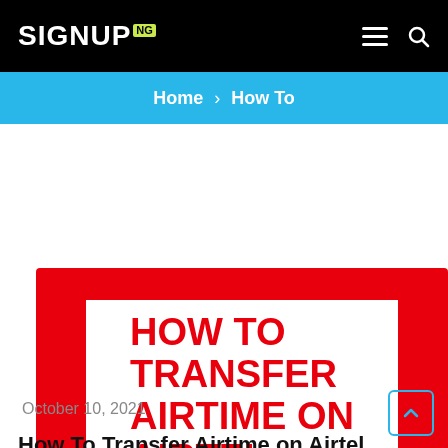SIGNUP NG — Home › How To
[Figure (illustration): Red background featured image with white inner box containing bold red text reading 'HOW TO TRANSFER AIRTIME ON AIRTEL']
October 10, 2021
How To Transfer Airtime on Airtel